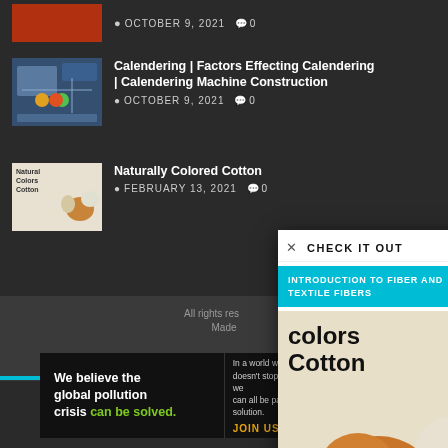[Figure (screenshot): Dark-themed website listing with partial top article showing orange/red thumbnail, date October 9 2021, 0 comments]
Calendering | Factors Effecting Calendering | Calendering Machine Construction
OCTOBER 9, 2021  0
Naturally Colored Cotton
FEBRUARY 13, 2021  0
All rights reserved
Made ...
Home  •  Privacy
[Figure (screenshot): Modal popup titled CHECK IT OUT showing link INTRODUCTION TO FIBER AND TEXTILE FIBERS and an image of naturally colored cotton balls]
[Figure (photo): Advertisement banner: Pure Earth - We believe the global pollution crisis can be solved. In a world where pollution doesn't stop at borders, we can all be part of the solution. JOIN US.]